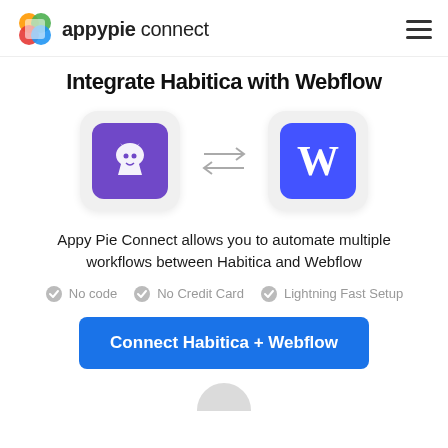appypie connect
Integrate Habitica with Webflow
[Figure (illustration): Two app icons (Habitica with purple griffin logo and Webflow with blue W logo) connected by bidirectional arrows, showing integration between the two apps.]
Appy Pie Connect allows you to automate multiple workflows between Habitica and Webflow
No code
No Credit Card
Lightning Fast Setup
Connect Habitica + Webflow